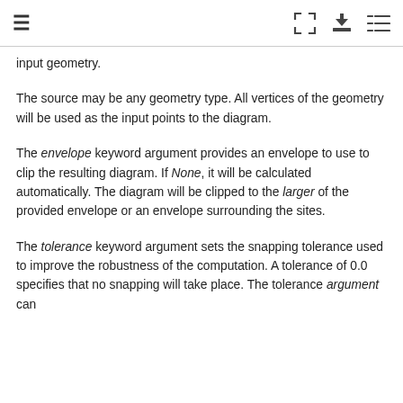≡  [expand] [download] [list]
input geometry.
The source may be any geometry type. All vertices of the geometry will be used as the input points to the diagram.
The envelope keyword argument provides an envelope to use to clip the resulting diagram. If None, it will be calculated automatically. The diagram will be clipped to the larger of the provided envelope or an envelope surrounding the sites.
The tolerance keyword argument sets the snapping tolerance used to improve the robustness of the computation. A tolerance of 0.0 specifies that no snapping will take place. The tolerance argument can be finished which causes the algorithm to fail...